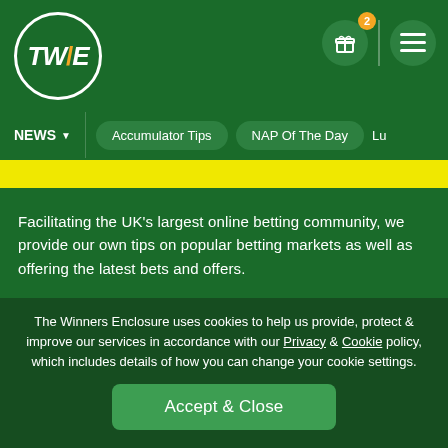[Figure (logo): TWE logo in a white circle on dark green background]
NEWS | Accumulator Tips | NAP Of The Day | Lu...
Facilitating the UK's largest online betting community, we provide our own tips on popular betting markets as well as offering the latest bets and offers.
Gamble Aware aims to promote responsibility in gambling. They provide information to help you make informed decisions about your gambling.
The Winners Enclosure uses cookies to help us provide, protect & improve our services in accordance with our Privacy & Cookie policy, which includes details of how you can change your cookie settings.
Accept & Close